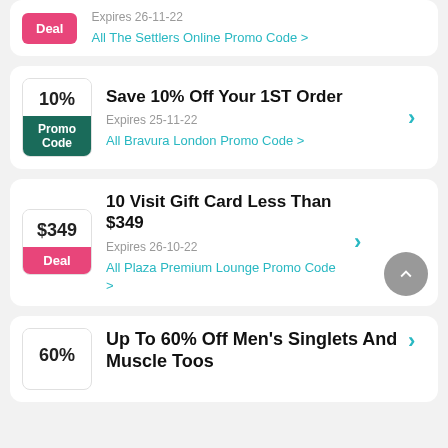Deal | Expires 26-11-22 | All The Settlers Online Promo Code >
10% | Promo Code | Save 10% Off Your 1ST Order | Expires 25-11-22 | All Bravura London Promo Code >
$349 | Deal | 10 Visit Gift Card Less Than $349 | Expires 26-10-22 | All Plaza Premium Lounge Promo Code >
60% | Up To 60% Off Men's Singlets And Muscle Toos